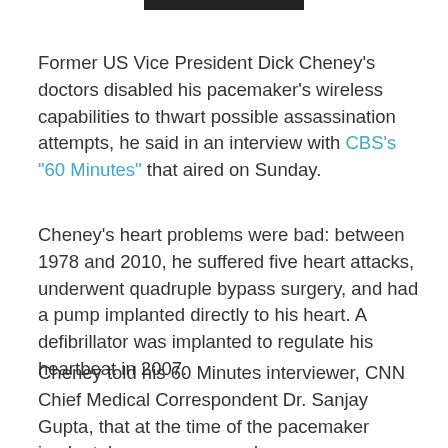[Figure (photo): Partial photo strip at top of page, likely a cropped photo of Dick Cheney]
Former US Vice President Dick Cheney's doctors disabled his pacemaker's wireless capabilities to thwart possible assassination attempts, he said in an interview with CBS's "60 Minutes" that aired on Sunday.
Cheney's heart problems were bad: between 1978 and 2010, he suffered five heart attacks, underwent quadruple bypass surgery, and had a pump implanted directly to his heart. A defibrillator was implanted to regulate his heartbeat in 2007.
Cheney told his 60 Minutes interviewer, CNN Chief Medical Correspondent Dr. Sanjay Gupta, that at the time of the pacemaker implant, he was concerned